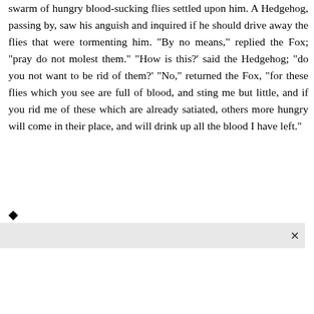swarm of hungry blood-sucking flies settled upon him. A Hedgehog, passing by, saw his anguish and inquired if he should drive away the flies that were tormenting him. "By no means," replied the Fox; "pray do not molest them." "How is this?' said the Hedgehog; "do you not want to be rid of them?' "No," returned the Fox, "for these flies which you see are full of blood, and sting me but little, and if you rid me of these which are already satiated, others more hungry will come in their place, and will drink up all the blood I have left."